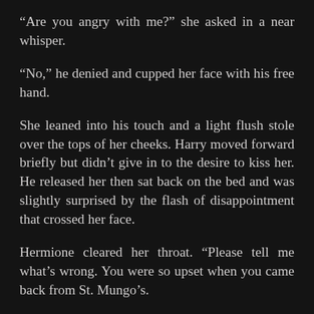“Are you angry with me?” she asked in a near whisper.
“No,” he denied and cupped her face with his free hand.
She leaned into his touch and a light flush stole over the tops of her cheeks. Harry moved forward briefly but didn’t give in to the desire to kiss her. He released her then sat back on the bed and was slightly surprised by the flash of disappointment that crossed her face.
Hermione cleared her throat. “Please tell me what’s wrong. You were so upset when you came back from St. Mungo’s.